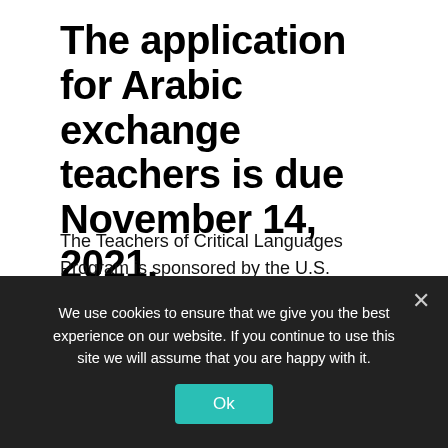The application for Arabic exchange teachers is due November 14, 2021.
The Teachers of Critical Languages Program is sponsored by the U.S. Department of State Bureau of Educational and Cultural Affairs and
We use cookies to ensure that we give you the best experience on our website. If you continue to use this site we will assume that you are happy with it.